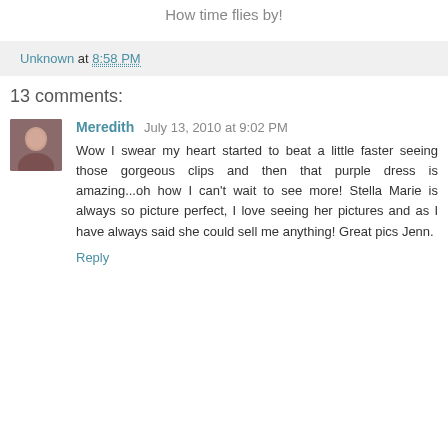How time flies by!
Unknown at 8:58 PM
13 comments:
Meredith July 13, 2010 at 9:02 PM
Wow I swear my heart started to beat a little faster seeing those gorgeous clips and then that purple dress is amazing...oh how I can't wait to see more! Stella Marie is always so picture perfect, I love seeing her pictures and as I have always said she could sell me anything! Great pics Jenn.
Reply